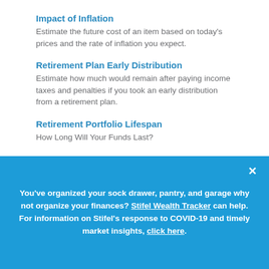Impact of Inflation
Estimate the future cost of an item based on today's prices and the rate of inflation you expect.
Retirement Plan Early Distribution
Estimate how much would remain after paying income taxes and penalties if you took an early distribution from a retirement plan.
Retirement Portfolio Lifespan
How Long Will Your Funds Last?
You've organized your sock drawer, pantry, and garage why not organize your finances? Stifel Wealth Tracker can help. For information on Stifel's response to COVID-19 and timely market insights, click here.